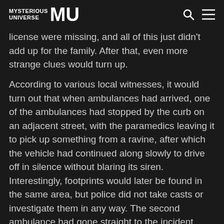MYSTERIOUS UNIVERSE MU
no discernible reason. There was also the fact that his sunglasses, wallet, and driver's license were missing, and all of this just didn't add up for the family. After that, even more strange clues would turn up.
According to various local witnesses, it would turn out that when ambulances had arrived, one of the ambulances had stopped by the curb on an adjacent street, with the paramedics leaving it to pick up something from a ravine, after which the vehicle had continued along slowly to drive off in silence without blaring its siren. Interestingly, footprints would later be found in the same area, but police did not take casts or investigate them in any way. The second ambulance had gone straight to the incident